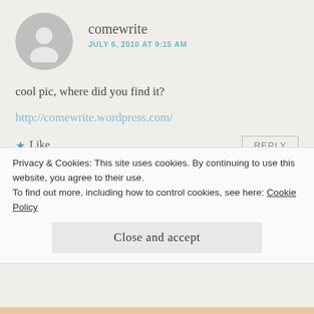comewrite
JULY 6, 2010 AT 9:15 AM
cool pic, where did you find it?
http://comewrite.wordpress.com/
★ Like
REPLY
[Figure (photo): User avatar photo for writes2escape, a circular cropped photo with dark green and warm tones]
writes2escape
JULY 6, 2010 AT 9:29 AM
Privacy & Cookies: This site uses cookies. By continuing to use this website, you agree to their use.
To find out more, including how to control cookies, see here: Cookie Policy
Close and accept